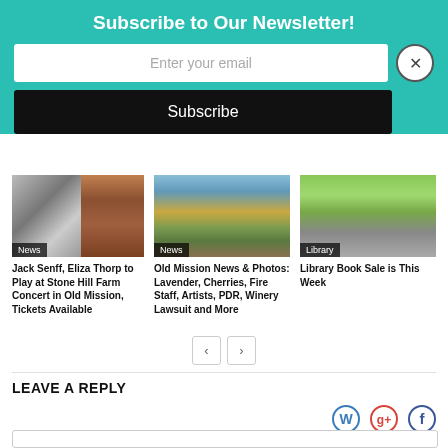Subscribe to Our Newsletter!
Enter your email
Subscribe
[Figure (photo): Two photos side by side: black and white photo of a person at a microphone, and a color photo of a young man with glasses and a beard.]
News
Jack Senff, Eliza Thorp to Play at Stone Hill Farm Concert in Old Mission, Tickets Available
[Figure (photo): A red barn in a green field at dusk with a fence in the foreground.]
News
Old Mission News & Photos: Lavender, Cherries, Fire Staff, Artists, PDR, Winery Lawsuit and More
[Figure (photo): Three people standing in front of a 'Used Books' sign outdoors.]
Library
Library Book Sale is This Week
LEAVE A REPLY